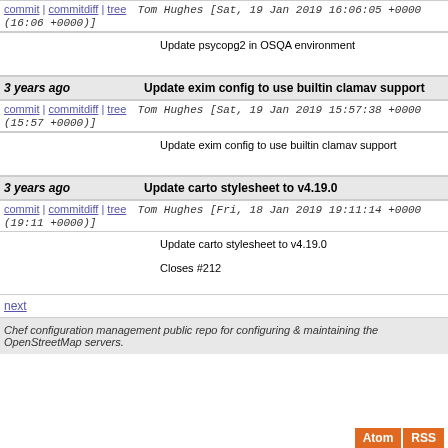commit | commitdiff | tree   Tom Hughes [Sat, 19 Jan 2019 16:06:05 +0000 (16:06 +0000)]
Update psycopg2 in OSQA environment
3 years ago   Update exim config to use builtin clamav support
commit | commitdiff | tree   Tom Hughes [Sat, 19 Jan 2019 15:57:38 +0000 (15:57 +0000)]
Update exim config to use builtin clamav support
3 years ago   Update carto stylesheet to v4.19.0
commit | commitdiff | tree   Tom Hughes [Fri, 18 Jan 2019 19:11:14 +0000 (19:11 +0000)]
Update carto stylesheet to v4.19.0

Closes #212
next
Chef configuration management public repo for configuring & maintaining the OpenStreetMap servers.